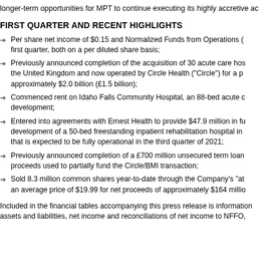longer-term opportunities for MPT to continue executing its highly accretive ac
FIRST QUARTER AND RECENT HIGHLIGHTS
Per share net income of $0.15 and Normalized Funds from Operations (first quarter, both on a per diluted share basis;
Previously announced completion of the acquisition of 30 acute care hos the United Kingdom and now operated by Circle Health (“Circle”) for a p approximately $2.0 billion (£1.5 billion);
Commenced rent on Idaho Falls Community Hospital, an 88-bed acute c development;
Entered into agreements with Ernest Health to provide $47.9 million in fu development of a 50-bed freestanding inpatient rehabilitation hospital in that is expected to be fully operational in the third quarter of 2021;
Previously announced completion of a £700 million unsecured term loan proceeds used to partially fund the Circle/BMI transaction;
Sold 8.3 million common shares year-to-date through the Company’s “at an average price of $19.99 for net proceeds of approximately $164 millio
Included in the financial tables accompanying this press release is information assets and liabilities, net income and reconciliations of net income to NFFO,